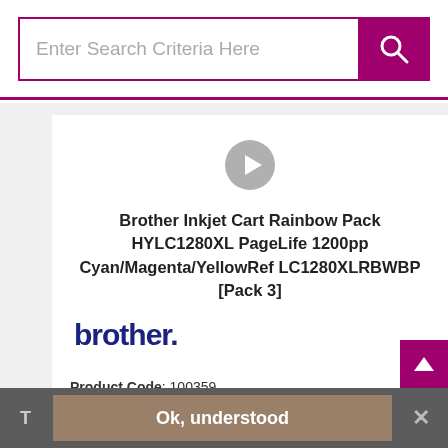Enter Search Criteria Here
[Figure (other): Play button circle icon (grey circle with white triangle play symbol)]
Brother Inkjet Cart Rainbow Pack HYLC1280XL PageLife 1200pp Cyan/Magenta/YellowRef LC1280XLRBWBP [Pack 3]
[Figure (logo): Brother brand logo in dark blue]
Product Code: 100359
Product Unit: Each
T   Ok, understood   ×